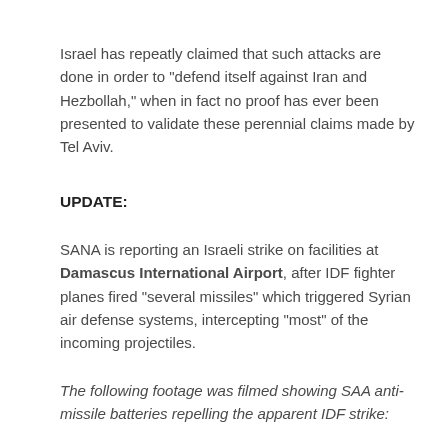Israel has repeatly claimed that such attacks are done in order to “defend itself against Iran and Hezbollah,” when in fact no proof has ever been presented to validate these perennial claims made by Tel Aviv.
UPDATE:
SANA is reporting an Israeli strike on facilities at Damascus International Airport, after IDF fighter planes fired “several missiles” which triggered Syrian air defense systems, intercepting “most” of the incoming projectiles.
The following footage was filmed showing SAA anti-missile batteries repelling the apparent IDF strike:
[Figure (screenshot): SANA news video thumbnail showing the SANA logo on a black background with Arabic text reading: من تصدي دفاعاتنا الجوية للأهداف المعادية]